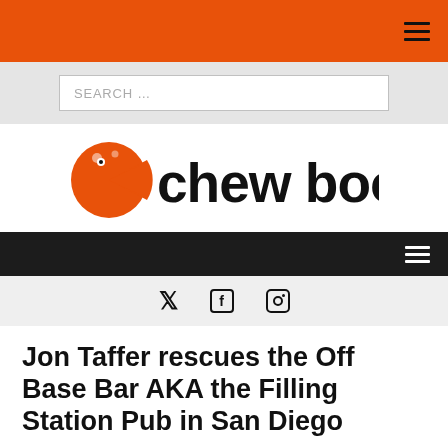Chew Boom - navigation header with hamburger menu
SEARCH ...
[Figure (logo): Chew Boom logo with orange pac-man style pizza icon and black bold text reading 'chew boom']
Navigation bar with hamburger menu
Twitter, Facebook, Instagram social icons
Jon Taffer rescues the Off Base Bar AKA the Filling Station Pub in San Diego
November 7, 2015  Bob Miller